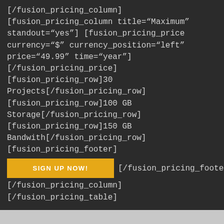[/fusion_pricing_column] [fusion_pricing_column title="Maximum" standout="yes"] [fusion_pricing_price currency="$" currency_position="left" price="49.99" time="year"] [/fusion_pricing_price] [fusion_pricing_row]30 Projects[/fusion_pricing_row] [fusion_pricing_row]100 GB Storage[/fusion_pricing_row] [fusion_pricing_row]150 GB Bandwith[/fusion_pricing_row] [fusion_pricing_footer]
SIGN UP NOW! [/fusion_pricing_footer]
[/fusion_pricing_column] [/fusion_pricing_table]
Pricing Design 2 With Up To 4 Columns